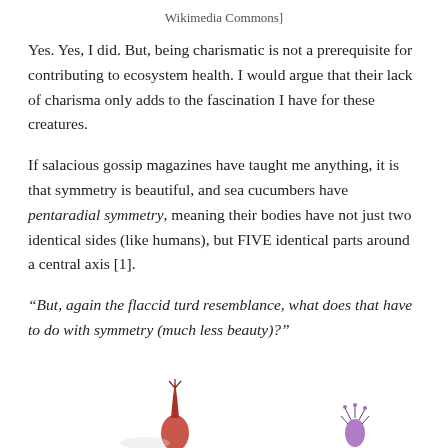Wikimedia Commons]
Yes. Yes, I did. But, being charismatic is not a prerequisite for contributing to ecosystem health. I would argue that their lack of charisma only adds to the fascination I have for these creatures.
If salacious gossip magazines have taught me anything, it is that symmetry is beautiful, and sea cucumbers have pentaradial symmetry, meaning their bodies have not just two identical sides (like humans), but FIVE identical parts around a central axis [1].
“But, again the flaccid turd resemblance, what does that have to do with symmetry (much less beauty)?”
[Figure (photo): Partial view of colorful sea creatures at the bottom of the page, showing a red and a purple specimen on a white background.]